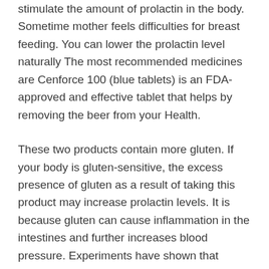stimulate the amount of prolactin in the body. Sometime mother feels difficulties for breast feeding. You can lower the prolactin level naturally The most recommended medicines are Cenforce 100 (blue tablets) is an FDA-approved and effective tablet that helps by removing the beer from your Health.
These two products contain more gluten. If your body is gluten-sensitive, the excess presence of gluten as a result of taking this product may increase prolactin levels. It is because gluten can cause inflammation in the intestines and further increases blood pressure. Experiments have shown that alcohol, in general, is a substance that increases prolactin levels. A study shows that people who drink 5g / kg of alcohol have significantly increased prolactin levels in their bodies. This effect helps to alter the levels of dopamine in the